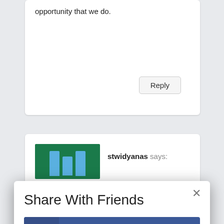opportunity that we do.
Reply
stwidyanas says:
Share With Friends
Facebook
Twitter
LinkedIn
Gmail